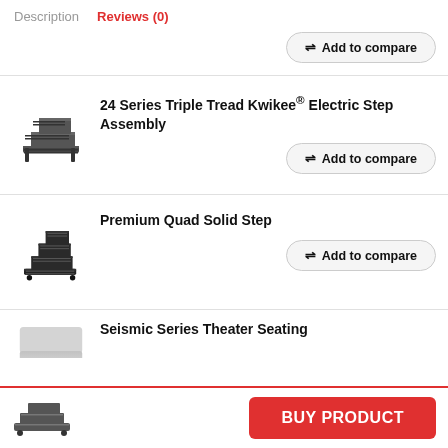Description   Reviews (0)
Add to compare
[Figure (photo): Product image of a triple-tread electric step assembly, dark gray, three steps visible from side angle]
24 Series Triple Tread Kwikee® Electric Step Assembly
Add to compare
[Figure (photo): Product image of a premium quad solid step, black metal, four steps visible from side angle]
Premium Quad Solid Step
Add to compare
Seismic Series Theater Seating
[Figure (photo): Bottom thumbnail image of a product, small, partially visible]
BUY PRODUCT